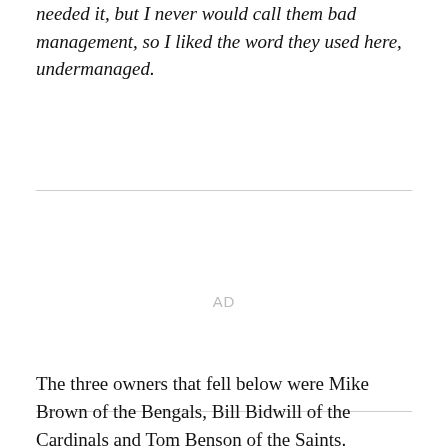needed it, but I never would call them bad management, so I liked the word they used here, undermanaged.
[Figure (other): Advertisement placeholder area labeled 'AD']
The three owners that fell below were Mike Brown of the Bengals, Bill Bidwill of the Cardinals and Tom Benson of the Saints.